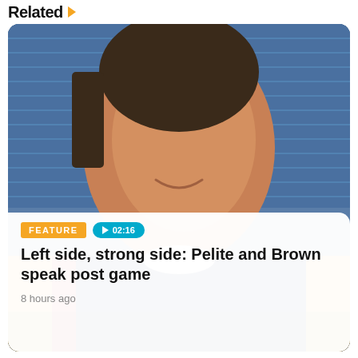Related ▶
[Figure (photo): A female rugby league player in a Gold Coast Titans jersey smiling, with blue stadium seats in the background. Yellow/navy/red team uniform visible.]
FEATURE  ▶ 02:16
Left side, strong side: Pelite and Brown speak post game
8 hours ago